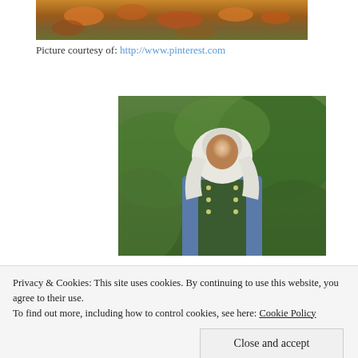[Figure (photo): Partial top of a photo showing autumn leaves and foliage in orange and brown tones]
Picture courtesy of: http://www.pinterest.com
[Figure (photo): Woman wearing a white hijab headcovering and blue medieval-style dress with green embroidered tabard, standing in front of green shrubs and bushes outdoors]
Privacy & Cookies: This site uses cookies. By continuing to use this website, you agree to their use.
To find out more, including how to control cookies, see here: Cookie Policy
Close and accept